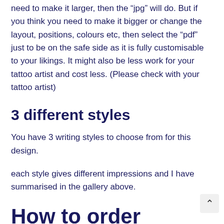need to make it larger, then the “jpg” will do. But if you think you need to make it bigger or change the layout, positions, colours etc, then select the “pdf” just to be on the safe side as it is fully customisable to your likings. It might also be less work for your tattoo artist and cost less. (Please check with your tattoo artist)
3 different styles
You have 3 writing styles to choose from for this design.
each style gives different impressions and I have summarised in the gallery above.
How to order